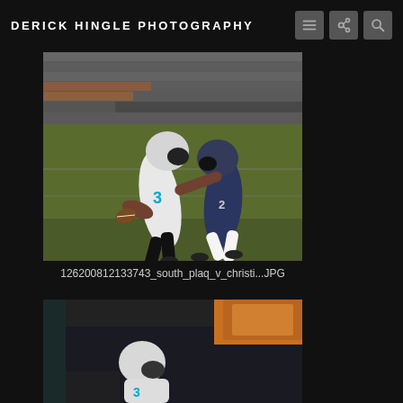DERICK HINGLE PHOTOGRAPHY
[Figure (photo): Two American football players during a game inside a stadium. Player in white jersey number 3 carrying the ball while being tackled/pushed by a player in dark navy uniform. Stadium seating visible in background.]
126200812133743_south_plaq_v_christi...JPG
[Figure (photo): Partial view of a football player in white uniform with helmet, appears to be a second photo from the same football game series.]